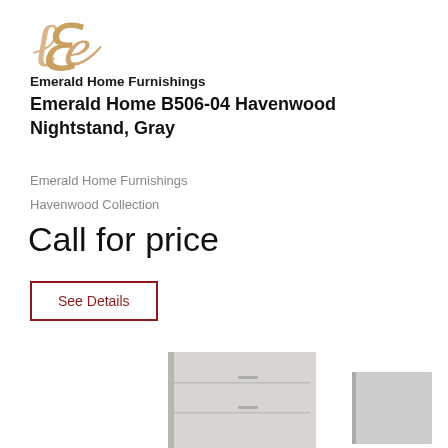[Figure (logo): Emerald Home Furnishings logo with decorative script E and brand name text]
Emerald Home B506-04 Havenwood Nightstand, Gray
Emerald Home Furnishings
Havenwood Collection
Call for price
See Details
[Figure (photo): Gray nightstand product photo (Havenwood Collection) with partial second image visible at right]